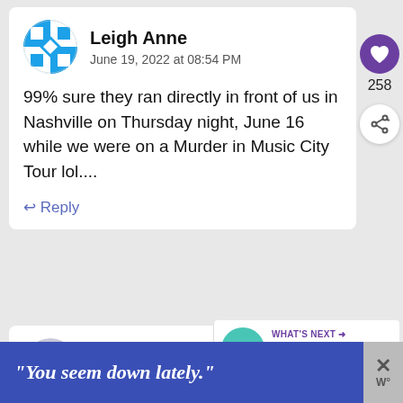[Figure (illustration): Avatar for Leigh Anne - blue and white geometric pattern circle]
Leigh Anne
June 19, 2022 at 08:54 PM
99% sure they ran directly in front of us in Nashville on Thursday night, June 16 while we were on a Murder in Music City Tour lol....
Reply
[Figure (illustration): Heart icon in purple circle, like button with count 258]
258
[Figure (illustration): Share icon in white circle]
[Figure (illustration): Avatar for Bella - grey geometric pattern circle]
Bella
June 23, 2022 at 02:43 PM
[Figure (infographic): WHAT'S NEXT panel with teal circle showing reality blur logo and text The Amazing Race 7 is no...]
[Figure (illustration): Advertisement banner: You seem down lately.]
"You seem down lately."